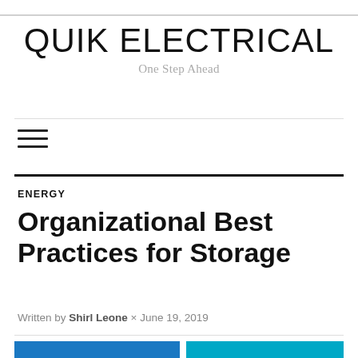QUIK ELECTRICAL
One Step Ahead
ENERGY
Organizational Best Practices for Storage
Written by Shirl Leone × June 19, 2019